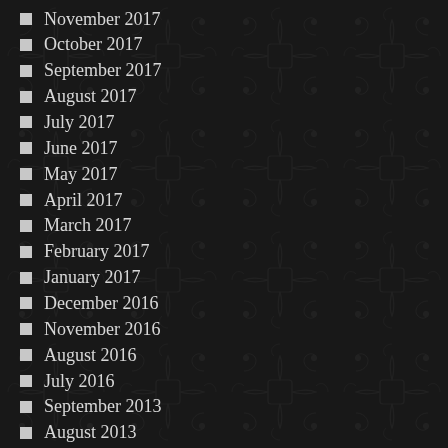November 2017
October 2017
September 2017
August 2017
July 2017
June 2017
May 2017
April 2017
March 2017
February 2017
January 2017
December 2016
November 2016
August 2016
July 2016
September 2013
August 2013
July 2013
March 2010
November 2009